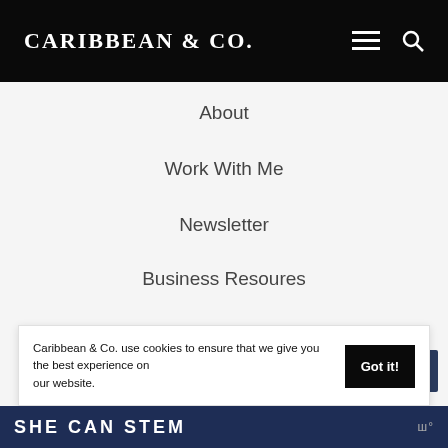Caribbean & Co.
About
Work With Me
Newsletter
Business Resoures
Contact
Caribbean & Co. use cookies to ensure that we give you the best experience on our website.
Got it!
SHE CAN STEM